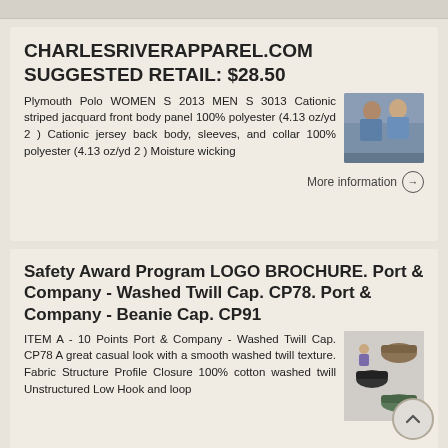CHARLESRIVERAPPAREL.COM SUGGESTED RETAIL: $28.50
Plymouth Polo WOMEN S 2013 MEN S 3013 Cationic striped jacquard front body panel 100% polyester (4.13 oz/yd 2 ) Cationic jersey back body, sleeves, and collar 100% polyester (4.13 oz/yd 2 ) Moisture wicking
[Figure (photo): Photo of two people wearing polo shirts]
More information ➔
Safety Award Program LOGO BROCHURE. Port & Company - Washed Twill Cap. CP78. Port & Company - Beanie Cap. CP91
ITEM A - 10 Points Port & Company - Washed Twill Cap. CP78 A great casual look with a smooth washed twill texture. Fabric Structure Profile Closure 100% cotton washed twill Unstructured Low Hook and loop
[Figure (photo): Image of caps/hats product catalog]